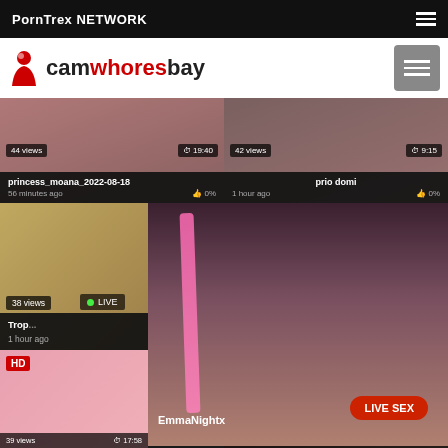PornTrex NETWORK
[Figure (screenshot): camwhoresbay website logo with red silhouette figure and site name]
[Figure (screenshot): Video thumbnail card: princess_moana_2022-08-18, 44 views, 19:40, 56 minutes ago, 0%]
[Figure (screenshot): Video thumbnail card: prio domi, 42 views, 9:15, 1 hour ago, 0%]
[Figure (screenshot): Video thumbnail card with Private badge: Trop..., 38 views, LIVE, 1 hour ago]
[Figure (screenshot): Video thumbnail card with Private badge, right side]
[Figure (screenshot): Large live video overlay: EmmaNightx with LIVE SEX button]
[Figure (screenshot): HD video thumbnail card, 39 views, 17:58]
[Figure (screenshot): Partial video thumbnail, 44 views, 45:39]